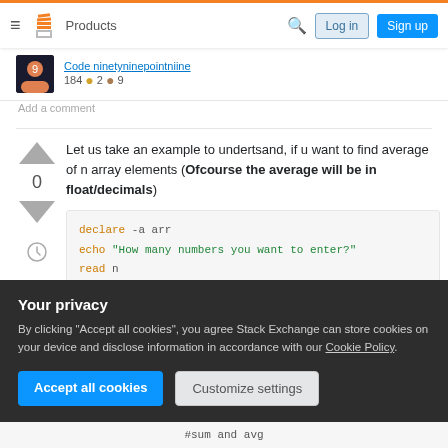≡  [Stack Overflow logo]  Products  🔍  Log in  Sign up
Code ninetyninepointniine  184 • 2 • 9
Add a comment
Let us take an example to undertsand, if u want to find average of n array elements (Ofcourse the average will be in float/decimals)
declare -a arr
echo "How many numbers you want to enter?"
read n
echo "Enter the Array Elements"
Your privacy
By clicking "Accept all cookies", you agree Stack Exchange can store cookies on your device and disclose information in accordance with our Cookie Policy.
Accept all cookies  Customize settings
#sum and avg